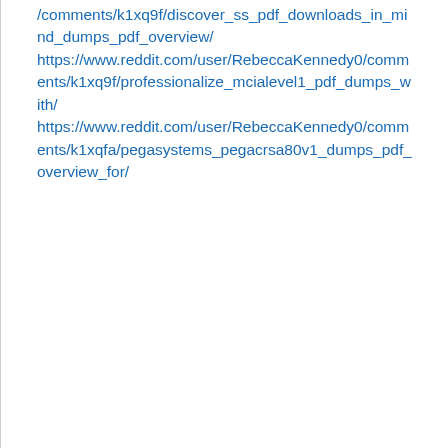/comments/k1xq9f/discover_ss_pdf_downloads_in_mind_dumps_pdf_overview/ https://www.reddit.com/user/RebeccaKennedy0/comments/k1xq9f/professionalize_mcialevel1_pdf_dumps_with/ https://www.reddit.com/user/RebeccaKennedy0/comments/k1xqfa/pegasystems_pegacrsa80v1_dumps_pdf_overview_for/